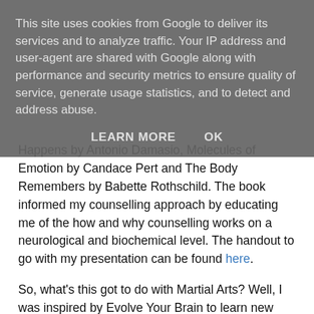This site uses cookies from Google to deliver its services and to analyze traffic. Your IP address and user-agent are shared with Google along with performance and security metrics to ensure quality of service, generate usage statistics, and to detect and address abuse.
LEARN MORE   OK
Happens by Antonio Damasio, Molecules of Emotion by Candace Pert and The Body Remembers by Babette Rothschild. The book informed my counselling approach by educating me of the how and why counselling works on a neurological and biochemical level. The handout to go with my presentation can be found here.
So, what's this got to do with Martial Arts? Well, I was inspired by Evolve Your Brain to learn new things. Dispenza reckons that our brains fall back on their innate i.e. genetic wiring if we stop learning new things, and this leads to us acting just like our parents, even if we don't want to. He advocates the challenge of continual learning to help our minds be flexible and creative rather than stuck and